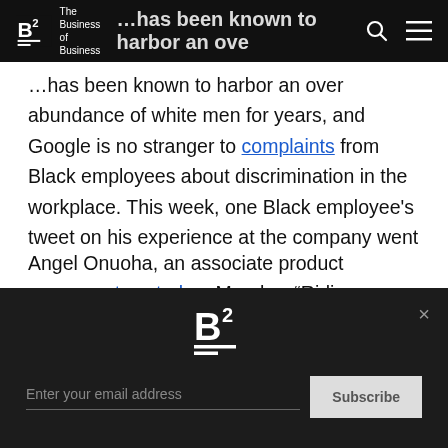B2 The Business of Business [navigation bar with search and menu icons]
...has been known to harbor an over abundance of white men for years, and Google is no stranger to complaints from Black employees about discrimination in the workplace. This week, one Black employee's tweet on his experience at the company went viral.
Angel Onuoha, an associate product manager, tweeted on Monday, “Riding my bike around Google’s campus and somebody called security on me because they didn’t believe I was an employee. Had to get escorted by two security guards to verify my ID badge.”
B2 logo, email subscription: Enter your email address, Subscribe button